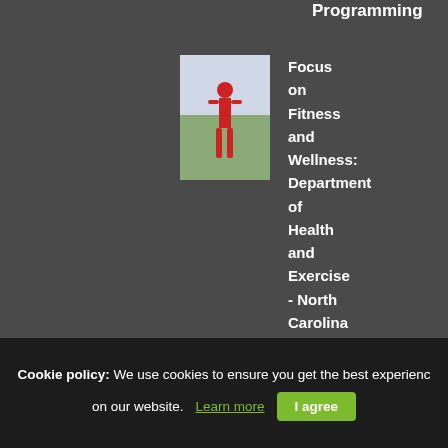Programming
[Figure (photo): Book cover for Focus on Fitness and Wellness: Department of Health and Exercise - North Carolina State University, showing a person in red clothing]
Focus on Fitness and Wellness: Department of Health and Exercise - North Carolina State University
[Figure (photo): Book cover for Python Crash Course, yellow cover with robot/machine illustration]
Python Crash Course
Cookie policy: We use cookies to ensure you get the best experience on our website. Learn more  I agree